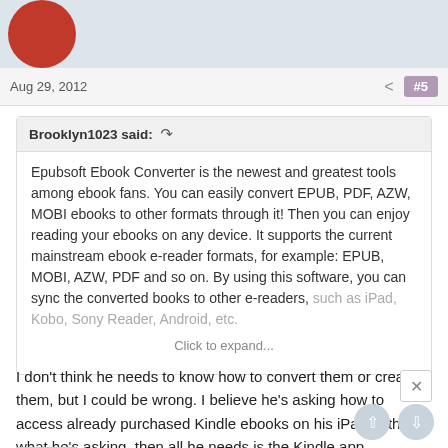[Figure (illustration): Partial view of a red circular avatar/profile icon at top left]
Aug 29, 2012
#5
Brooklyn1023 said:
Epubsoft Ebook Converter is the newest and greatest tools among ebook fans. You can easily convert EPUB, PDF, AZW, MOBI ebooks to other formats through it! Then you can enjoy reading your ebooks on any device. It supports the current mainstream ebook e-reader formats, for example: EPUB, MOBI, AZW, PDF and so on. By using this software, you can sync the converted books to other e-readers, such as iPad, Kobo, Sony Reader, Android, etc.
Click to expand...
I don't think he needs to know how to convert them or create them, but I could be wrong. I believe he's asking how to access already purchased Kindle ebooks on his iPad. If that's what he's asking, then all he needs is the Kindle app.